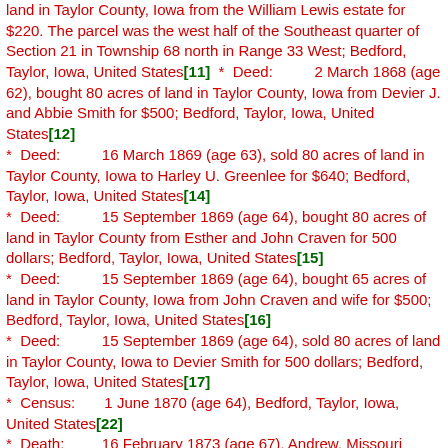land in Taylor County, Iowa from the William Lewis estate for $220. The parcel was the west half of the Southeast quarter of Section 21 in Township 68 north in Range 33 West; Bedford, Taylor, Iowa, United States[11]  *  Deed:         2 March 1868 (age 62), bought 80 acres of land in Taylor County, Iowa from Devier J. and Abbie Smith for $500; Bedford, Taylor, Iowa, United States[12]
*  Deed:         16 March 1869 (age 63), sold 80 acres of land in Taylor County, Iowa to Harley U. Greenlee for $640; Bedford, Taylor, Iowa, United States[14]
*  Deed:         15 September 1869 (age 64), bought 80 acres of land in Taylor County from Esther and John Craven for 500 dollars; Bedford, Taylor, Iowa, United States[15]
*  Deed:         15 September 1869 (age 64), bought 65 acres of land in Taylor County, Iowa from John Craven and wife for $500; Bedford, Taylor, Iowa, United States[16]
*  Deed:         15 September 1869 (age 64), sold 80 acres of land in Taylor County, Iowa to Devier Smith for 500 dollars; Bedford, Taylor, Iowa, United States[17]
*  Census:       1 June 1870 (age 64), Bedford, Taylor, Iowa, United States[22]
*  Death:        16 February 1873 (age 67), Andrew, Missouri